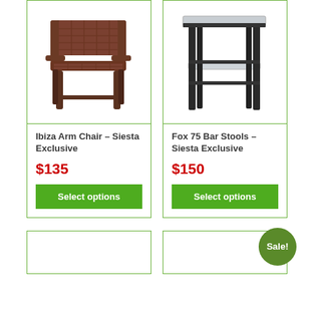[Figure (photo): Brown wicker/rattan arm chair product photo on white background]
Ibiza Arm Chair – Siesta Exclusive
$135
Select options
[Figure (photo): Black metal bar stool with glass/acrylic seat product photo on white background]
Fox 75 Bar Stools – Siesta Exclusive
$150
Select options
Sale!